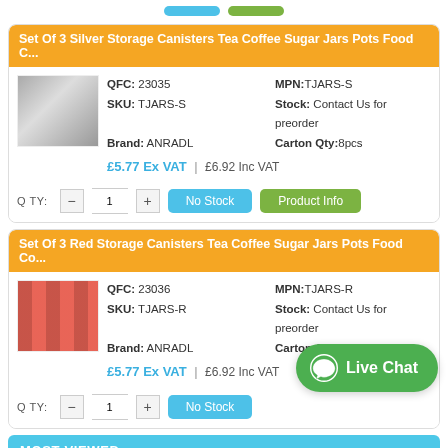Set Of 3 Silver Storage Canisters Tea Coffee Sugar Jars Pots Food C...
QFC: 23035 | MPN: TJARS-S | SKU: TJARS-S | Stock: Contact Us for preorder | Brand: ANRADL | Carton Qty: 8pcs
£5.77 Ex VAT | £6.92 Inc VAT
Set Of 3 Red Storage Canisters Tea Coffee Sugar Jars Pots Food Co...
QFC: 23036 | MPN: TJARS-R | SKU: TJARS-R | Stock: Contact Us for preorder | Brand: ANRADL | Carton Qty: 8pcs
£5.77 Ex VAT | £6.92 Inc VAT
MOST VIEWED